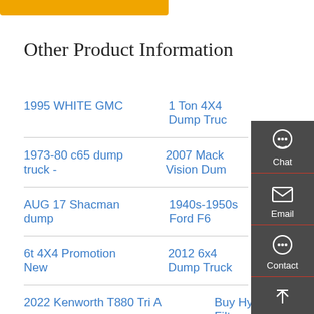[Figure (other): Orange/yellow header banner image at top]
Other Product Information
1995 WHITE GMC
1 Ton 4X4 Dump Truck
1973-80 c65 dump truck -
2007 Mack Vision Dump
AUG 17 Shacman dump
1940s-1950s Ford F6
6t 4X4 Promotion New
2012 6x4 Dump Truck
2022 Kenworth T880 Tri A
Buy Hydraulic Filter